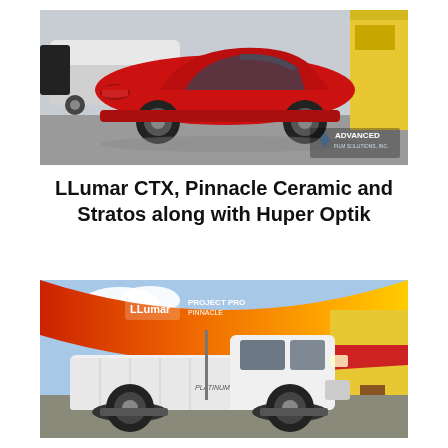[Figure (photo): Red sporty hatchback car (Hyundai Veloster) parked in a lot in front of a yellow building and a white SUV. Advanced Film Solutions Inc. logo visible in bottom right corner of the image.]
LLumar CTX, Pinnacle Ceramic and Stratos along with Huper Optik
[Figure (photo): White lifted Ford Super Duty pickup truck parked outside a yellow building with a red awning. LLumar and other brand banners visible in background with colorful curved graphic banner (red/orange/yellow) overhead.]